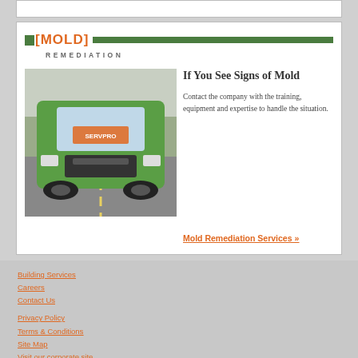[Figure (illustration): Top border/card area, mostly white, partial box visible at very top of page]
[MOLD] REMEDIATION
[Figure (photo): Front view of a green SERVPRO van on a road]
If You See Signs of Mold
Contact the company with the training, equipment and expertise to handle the situation.
Mold Remediation Services »
Building Services
Careers
Contact Us
Privacy Policy
Terms & Conditions
Site Map
Visit our corporate site
Contractor Licenses: